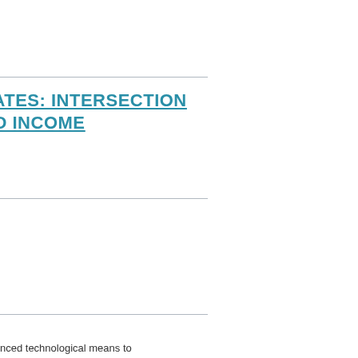D STATES: INTERSECTION T AND INCOME
most advanced technological means to ent upon the quality of the original